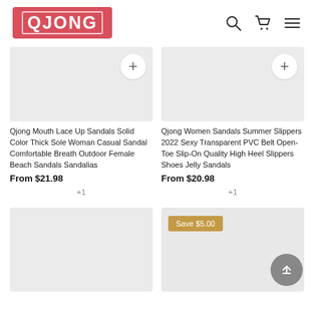[Figure (logo): QJONG brand logo on red background]
[Figure (other): Navigation icons: search, cart, menu]
[Figure (photo): Product image placeholder with + button for Mouth Lace Up Sandals]
Qjong Mouth Lace Up Sandals Solid Color Thick Sole Woman Casual Sandal Comfortable Breath Outdoor Female Beach Sandals Sandalias
From $21.98
+1
[Figure (photo): Product image placeholder with + button for Women Sandals Summer Slippers]
Qjong Women Sandals Summer Slippers 2022 Sexy Transparent PVC Belt Open-Toe Slip-On Quality High Heel Slippers Shoes Jelly Sandals
From $20.98
+1
[Figure (photo): Product image placeholder bottom left]
[Figure (photo): Product image placeholder bottom right with Save $5.00 badge]